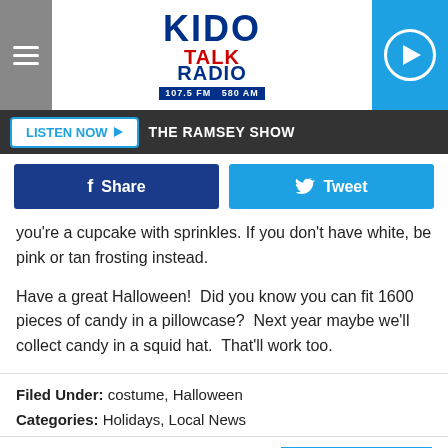[Figure (logo): KIDO Talk Radio logo with 107.5 FM and 580 AM frequencies]
LISTEN NOW ▶   THE RAMSEY SHOW
[Figure (other): Facebook Share button and Twitter Tweet button]
you're a cupcake with sprinkles. If you don't have white, be pink or tan frosting instead.
Have a great Halloween!  Did you know you can fit 1600 pieces of candy in a pillowcase?  Next year maybe we'll collect candy in a squid hat.  That'll work too.
Filed Under: costume, Halloween
Categories: Holidays, Local News
Comments